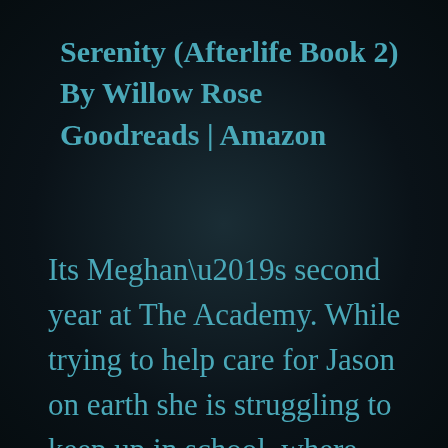Serenity (Afterlife Book 2)
By Willow Rose
Goodreads | Amazon
Its Meghan’s second year at The Academy. While trying to help care for Jason on earth she is struggling to keep up in school, where